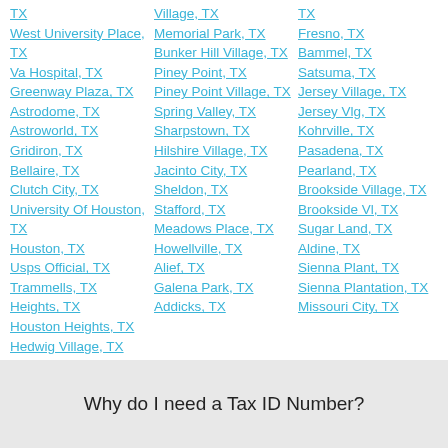TX
West University Place, TX
Va Hospital, TX
Greenway Plaza, TX
Astrodome, TX
Astroworld, TX
Gridiron, TX
Bellaire, TX
Clutch City, TX
University Of Houston, TX
Houston, TX
Usps Official, TX
Trammells, TX
Heights, TX
Houston Heights, TX
Hedwig Village, TX
Village, TX
Memorial Park, TX
Bunker Hill Village, TX
Piney Point, TX
Piney Point Village, TX
Spring Valley, TX
Sharpstown, TX
Hilshire Village, TX
Jacinto City, TX
Sheldon, TX
Stafford, TX
Meadows Place, TX
Howellville, TX
Alief, TX
Galena Park, TX
Addicks, TX
TX
Fresno, TX
Bammel, TX
Satsuma, TX
Jersey Village, TX
Jersey Vlg, TX
Kohrville, TX
Pasadena, TX
Pearland, TX
Brookside Village, TX
Brookside Vl, TX
Sugar Land, TX
Aldine, TX
Sienna Plant, TX
Sienna Plantation, TX
Missouri City, TX
Why do I need a Tax ID Number?